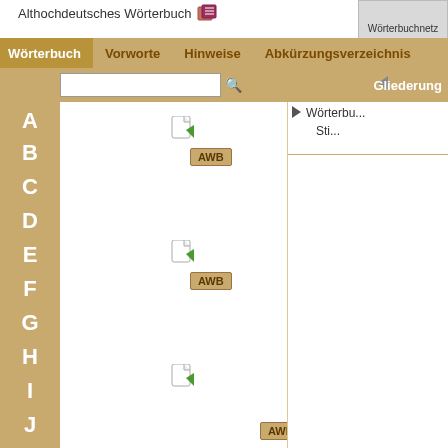Althochdeutsches Wörterbuch
Wörterbuchnetz
Wörterbuch  Vorworte  Hinweise  Abkürzungsverzeichnis
Gliederung
A B C D E F G H I J K L M
[Figure (screenshot): Navigation sidebar showing alphabet letters A through M on tan/gold background]
Wörterbu... Sti...
[Figure (other): Document/link icons with AWB badges appearing at rows A, E, H, J, M sections]